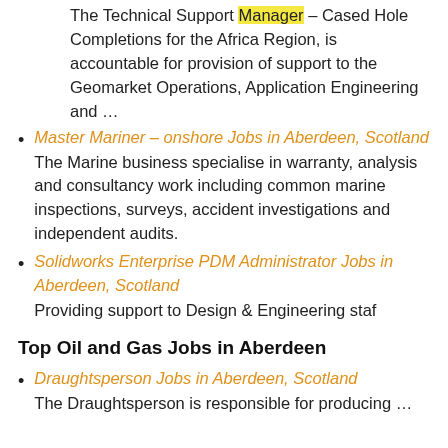The Technical Support Manager – Cased Hole Completions for the Africa Region, is accountable for provision of support to the Geomarket Operations, Application Engineering and …
Master Mariner – onshore Jobs in Aberdeen, Scotland
The Marine business specialise in warranty, analysis and consultancy work including common marine inspections, surveys, accident investigations and independent audits.
Solidworks Enterprise PDM Administrator Jobs in Aberdeen, Scotland
Providing support to Design & Engineering staf
Top Oil and Gas Jobs in Aberdeen
Draughtsperson Jobs in Aberdeen, Scotland
The Draughtsperson is responsible for producing …